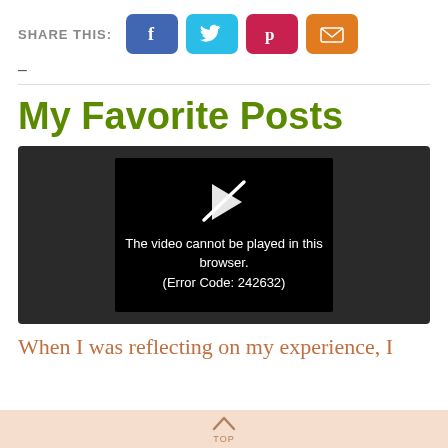SHARE THIS:
[Figure (screenshot): Social share buttons: Facebook (blue), Twitter (cyan), Pinterest (pink-red), Email (orange)]
–
My Favorite Posts
[Figure (screenshot): Video player showing error: The video cannot be played in this browser. (Error Code: 242632)]
When I was reflecting on my experience, I